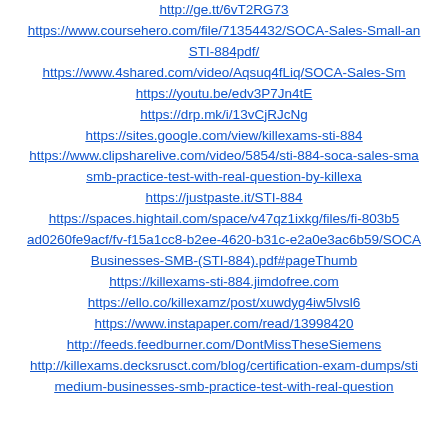http://ge.tt/6vT2RG73
https://www.coursehero.com/file/71354432/SOCA-Sales-Small-an
STI-884pdf/
https://www.4shared.com/video/Aqsuq4fLiq/SOCA-Sales-Sm
https://youtu.be/edv3P7Jn4tE
https://drp.mk/i/13vCjRJcNg
https://sites.google.com/view/killexams-sti-884
https://www.clipsharelive.com/video/5854/sti-884-soca-sales-sma
smb-practice-test-with-real-question-by-killexa
https://justpaste.it/STI-884
https://spaces.hightail.com/space/v47qz1ixkg/files/fi-803b5
ad0260fe9acf/fv-f15a1cc8-b2ee-4620-b31c-e2a0e3ac6b59/SOCA
Businesses-SMB-(STI-884).pdf#pageThumb
https://killexams-sti-884.jimdofree.com
https://ello.co/killexamz/post/xuwdyg4iw5lvsl6
https://www.instapaper.com/read/13998420
http://feeds.feedburner.com/DontMissTheseSiemens
http://killexams.decksrusct.com/blog/certification-exam-dumps/sti
medium-businesses-smb-practice-test-with-real-question